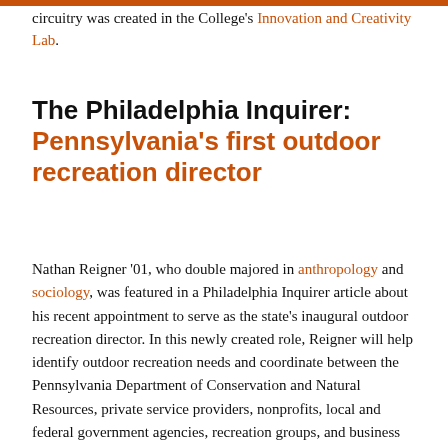circuitry was created in the College's Innovation and Creativity Lab.
The Philadelphia Inquirer: Pennsylvania's first outdoor recreation director
Nathan Reigner '01, who double majored in anthropology and sociology, was featured in a Philadelphia Inquirer article about his recent appointment to serve as the state's inaugural outdoor recreation director. In this newly created role, Reigner will help identify outdoor recreation needs and coordinate between the Pennsylvania Department of Conservation and Natural Resources, private service providers, nonprofits, local and federal government agencies, recreation groups, and business leaders.